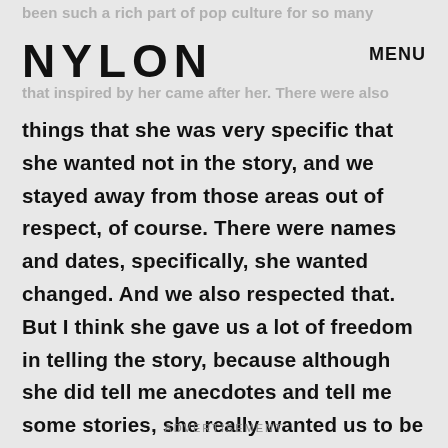been such a rich part of pop culture for so many
NYLON  MENU
that inspired by her came after her. There were also
things that she was very specific that she wanted not in the story, and we stayed away from those areas out of respect, of course. There were names and dates, specifically, she wanted changed. And we also respected that. But I think she gave us a lot of freedom in telling the story, because although she did tell me anecdotes and tell me some stories, she really wanted us to be able to tell the story of the icon Angelyne.
ADVERTISEMENT